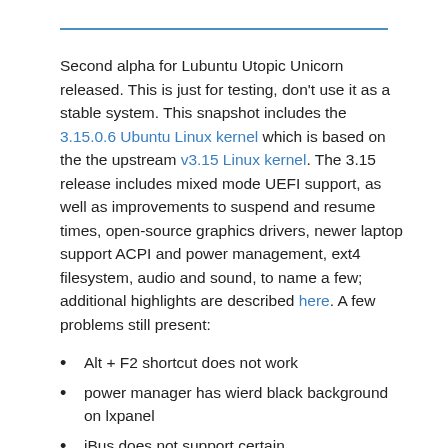Second alpha for Lubuntu Utopic Unicorn released. This is just for testing, don't use it as a stable system. This snapshot includes the 3.15.0.6 Ubuntu Linux kernel which is based on the the upstream v3.15 Linux kernel. The 3.15 release includes mixed mode UEFI support, as well as improvements to suspend and resume times, open-source graphics drivers, newer laptop support ACPI and power management, ext4 filesystem, audio and sound, to name a few; additional highlights are described here. A few problems still present:
Alt + F2 shortcut does not work
power manager has wierd black background on lxpanel
iBus does not support certain